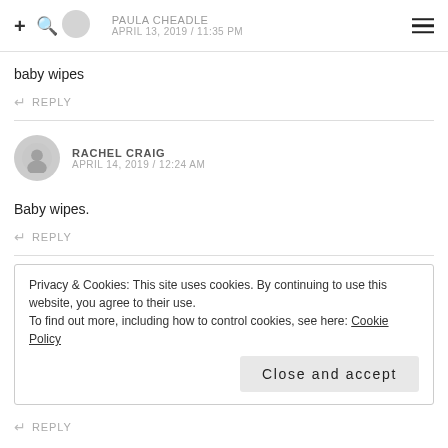PAULA CHEADLE APRIL 13, 2019 / 11:35 PM
baby wipes
REPLY
RACHEL CRAIG APRIL 14, 2019 / 12:24 AM
Baby wipes.
REPLY
Privacy & Cookies: This site uses cookies. By continuing to use this website, you agree to their use. To find out more, including how to control cookies, see here: Cookie Policy Close and accept
REPLY